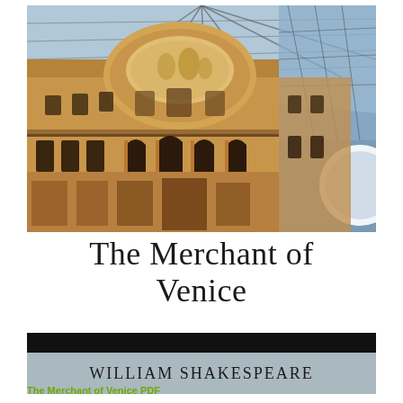[Figure (photo): Looking up at ornate European arcade/galleria building interior with glass roof dome, arched windows, and decorative stone facade in warm golden-brown tones]
The Merchant of Venice
William Shakespeare
The Merchant of Venice PDF